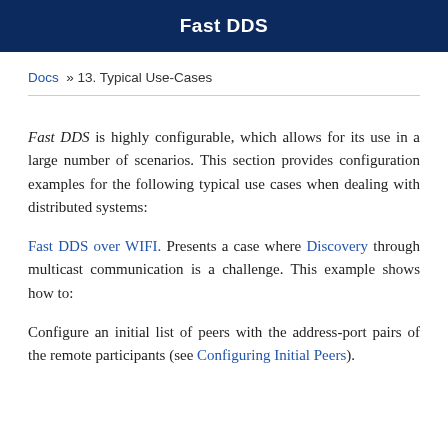Fast DDS
Docs » 13. Typical Use-Cases
Fast DDS is highly configurable, which allows for its use in a large number of scenarios. This section provides configuration examples for the following typical use cases when dealing with distributed systems:
Fast DDS over WIFI. Presents a case where Discovery through multicast communication is a challenge. This example shows how to:
Configure an initial list of peers with the address-port pairs of the remote participants (see Configuring Initial Peers).